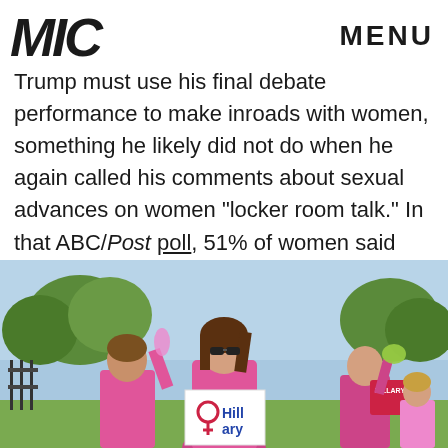MIC   MENU
Trump must use his final debate performance to make inroads with women, something he likely did not do when he again called his comments about sexual advances on women "locker room talk." In that ABC/Post poll, 51% of women said Trump's comments went beyond what most men say.
[Figure (photo): Women in pink shirts marching and holding Hillary Clinton campaign signs outdoors, with trees in the background.]